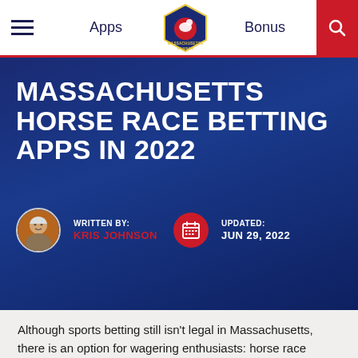Apps | Massachusetts Casinos | Bonus
MASSACHUSETTS HORSE RACE BETTING APPS IN 2022
WRITTEN BY: KRIS JOHNSON
UPDATED: JUN 29, 2022
Although sports betting still isn't legal in Massachusetts, there is an option for wagering enthusiasts: horse race betting.
Yes, online betting on horse races is legal in Massachusetts...